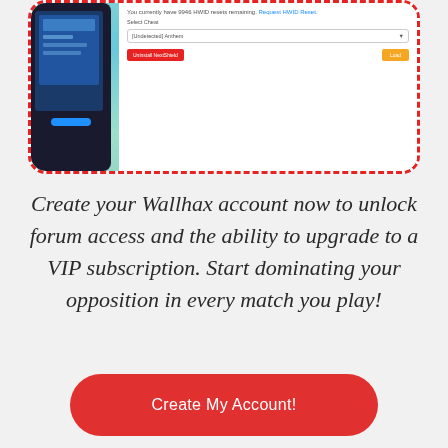[Figure (screenshot): Screenshot showing a software UI panel with holographic background and a dark device on the left. The panel shows HWID reset info, a cheat selector dropdown showing '[Undetected] Anthem', an 'Uninstall NextShield' red button, and a yellow 'Load' button.]
Create your Wallhax account now to unlock forum access and the ability to upgrade to a VIP subscription. Start dominating your opposition in every match you play!
Create My Account!